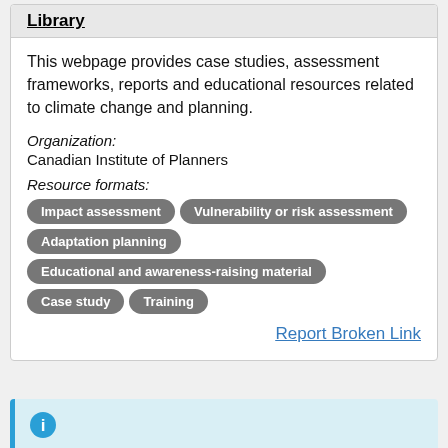Library
This webpage provides case studies, assessment frameworks, reports and educational resources related to climate change and planning.
Organization:
Canadian Institute of Planners
Resource formats:
Impact assessment
Vulnerability or risk assessment
Adaptation planning
Educational and awareness-raising material
Case study
Training
Report Broken Link
[Figure (infographic): Blue info icon (letter i in a circle) at the start of a light blue info card section at the bottom of the page.]